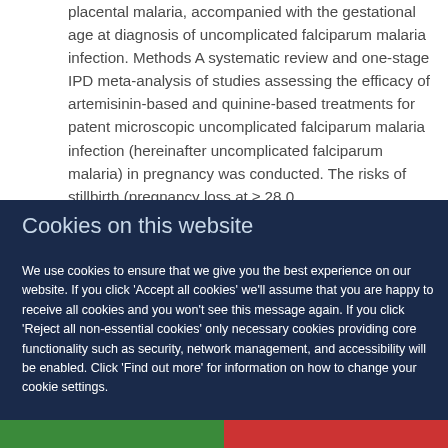placental malaria, accompanied with the gestational age at diagnosis of uncomplicated falciparum malaria infection. Methods A systematic review and one-stage IPD meta-analysis of studies assessing the efficacy of artemisinin-based and quinine-based treatments for patent microscopic uncomplicated falciparum malaria infection (hereinafter uncomplicated falciparum malaria) in pregnancy was conducted. The risks of stillbirth (pregnancy loss at ≥ 28.0
Cookies on this website
We use cookies to ensure that we give you the best experience on our website. If you click 'Accept all cookies' we'll assume that you are happy to receive all cookies and you won't see this message again. If you click 'Reject all non-essential cookies' only necessary cookies providing core functionality such as security, network management, and accessibility will be enabled. Click 'Find out more' for information on how to change your cookie settings.